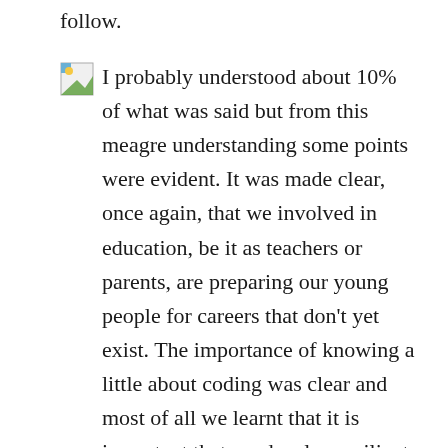follow.
I probably understood about 10% of what was said but from this meagre understanding some points were evident.  It was made clear, once again, that we involved in education, be it as teachers or parents, are preparing our young people for careers that don't yet exist.  The importance of knowing a little about coding was clear and most of all we learnt that it is important that we develop resilient characters.  The games design world is one in which the financial stakes are high, the revenue from games is now greater than that of cinema.  It became very clear that most great ideas for games fall by the wayside even after much work and investment has been made in them.  I would equate it to the beautifully crafted project that has taken the weekend to